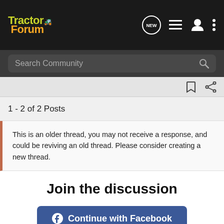TractorForum
Search Community
1 - 2 of 2 Posts
This is an older thread, you may not receive a response, and could be reviving an old thread. Please consider creating a new thread.
Join the discussion
Continue with Facebook
[Figure (screenshot): GroundOS advertisement banner: The nation's top land brokers run on GroundOS. REQUEST A DEMO]